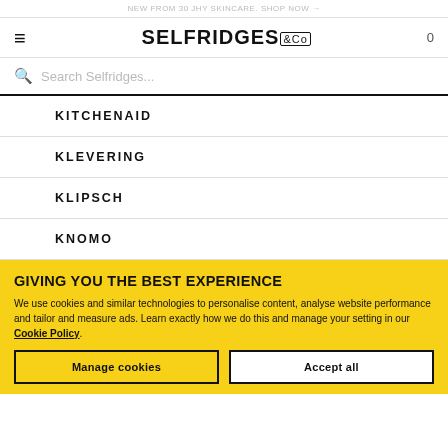NEW FROM 30 JHY SKINCARE. SHOP NOW →
[Figure (logo): Selfridges & Co logo with hamburger menu icon on left and cart count on right]
Search Selfridges...
KITCHENAID
KLEVERING
KLIPSCH
KNOMO
GIVING YOU THE BEST EXPERIENCE
We use cookies and similar technologies to personalise content, analyse website performance and tailor and measure ads. Learn exactly how we do this and manage your setting in our Cookie Policy.
Manage cookies
Accept all